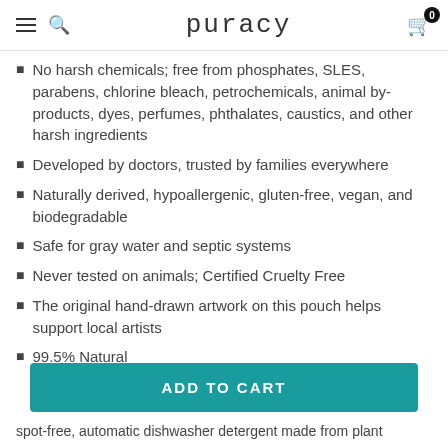puracy
No harsh chemicals; free from phosphates, SLES, parabens, chlorine bleach, petrochemicals, animal by-products, dyes, perfumes, phthalates, caustics, and other harsh ingredients
Developed by doctors, trusted by families everywhere
Naturally derived, hypoallergenic, gluten-free, vegan, and biodegradable
Safe for gray water and septic systems
Never tested on animals; Certified Cruelty Free
The original hand-drawn artwork on this pouch helps support local artists
99.5% Natural
ADD TO CART
spot-free, automatic dishwasher detergent made from plant